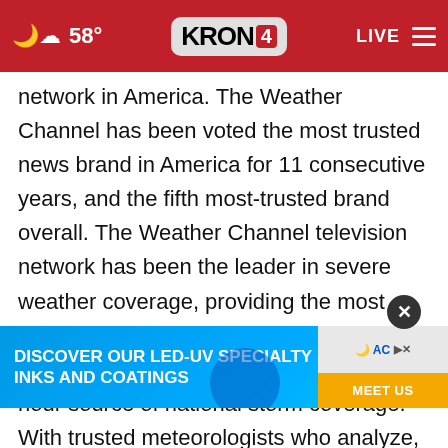58° KRON4 LIVE
network in America. The Weather Channel has been voted the most trusted news brand in America for 11 consecutive years, and the fifth most-trusted brand overall. The Weather Channel television network has been the leader in severe weather coverage, providing the most comprehensive analysis of any media outlet and serving as the nation's only 24-hour source of national storm coverage. With trusted meteorologists who analyze, forecast and report…d. In 2021 and 2019, The Weather Channel won
[Figure (screenshot): Advertisement banner: 'DISCOVER OUR LED-UV SPECIALTY INKS AND COATINGS' with MEET US button and AC logo, blue background]